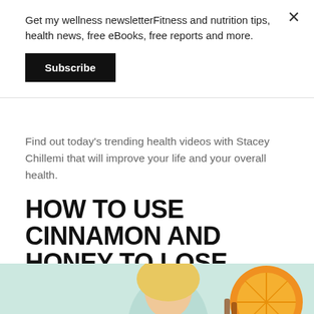Get my wellness newsletterFitness and nutrition tips, health news, free eBooks, free reports and more.
Subscribe
Find out today’s trending health videos with Stacey Chillemi that will improve your life and your overall health.
HOW TO USE CINNAMON AND HONEY TO LOSE BELLY FAT
VIDEOS
[Figure (photo): Thumbnail image showing a blonde woman and citrus/cinnamon ingredients]